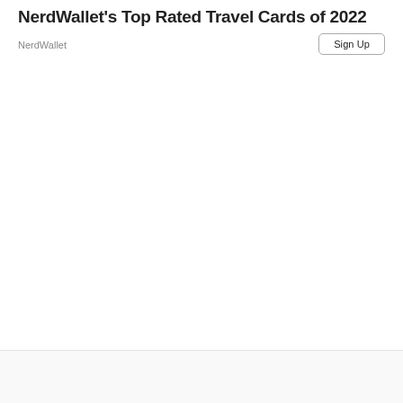NerdWallet's Top Rated Travel Cards of 2022
NerdWallet
Sign Up